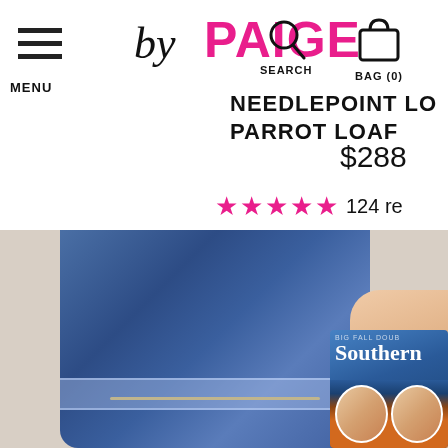MENU | by PAIGE | SEARCH | BAG (0)
NEEDLEPOINT LO
PARROT LOAF
$288
★★★★★ 124 re
[Figure (photo): Product page screenshot showing jeans/denim cuffed hem and lower leg of model wearing loafers, with a Southern Living magazine visible in lower right corner and 'AS SEE' text overlay]